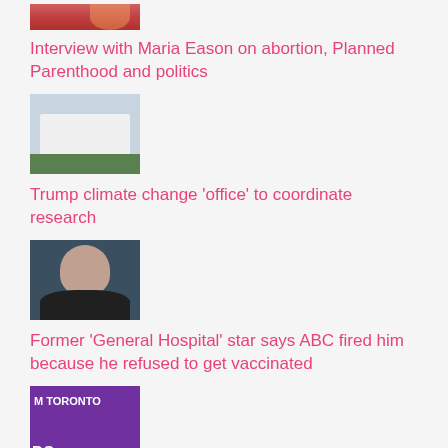[Figure (photo): Partial thumbnail image at top of page, cropped]
Interview with Maria Eason on abortion, Planned Parenthood and politics
[Figure (photo): Thumbnail image of the White House]
Trump climate change 'office' to coordinate research
[Figure (photo): Thumbnail image of a man]
Former 'General Hospital' star says ABC fired him because he refused to get vaccinated
[Figure (photo): Thumbnail image with Toronto text and colorful background]
Mayor John Tory Says Anti-vaccination Agitators Should Take A Lesson from Civic Engagement